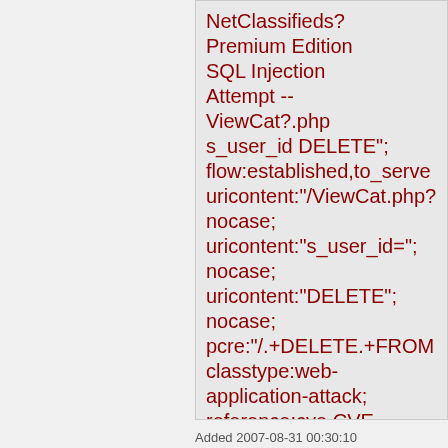NetClassifieds? Premium Edition SQL Injection Attempt -- ViewCat?.php s_user_id DELETE"; flow:established,to_serve uricontent:"/ViewCat.php? nocase; uricontent:"s_user_id="; nocase; uricontent:"DELETE"; nocase; pcre:"/.+DELETE.+FROM classtype:web-application-attack; reference:cve,CVE-2007-3354; reference:url,www.securit sid:2006550; rev:2;)
Added 2007-08-31 00:30:10